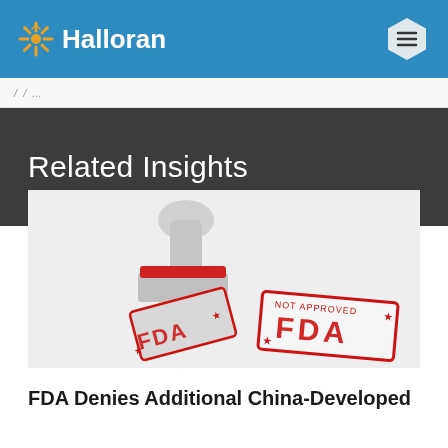Halloran
/ / ...
Related Insights
[Figure (photo): Photo of two rubber stamps with red FDA lettering, placed diagonally on a white background]
FDA Denies Additional China-Developed